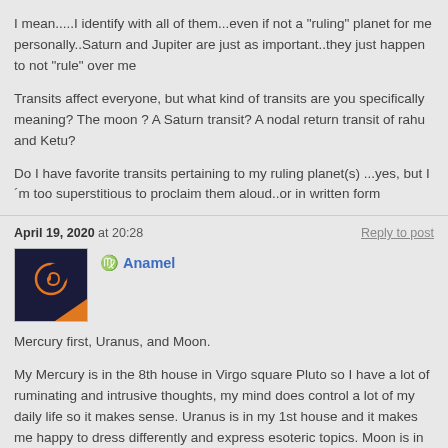I mean.....I identify with all of them...even if not a "ruling" planet for me personally..Saturn and Jupiter are just as important..they just happen to not "rule" over me
Transits affect everyone, but what kind of transits are you specifically meaning? The moon ? A Saturn transit? A nodal return transit of rahu and Ketu?
Do I have favorite transits pertaining to my ruling planet(s) ...yes, but I´m too superstitious to proclaim them aloud..or in written form
April 19, 2020 at 20:28
Reply to post
[Figure (illustration): Forum user avatar showing a dark navy blue square with an orange crescent moon and spiral graphic]
Anamel
Mercury first, Uranus, and Moon.
My Mercury is in the 8th house in Virgo square Pluto so I have a lot of ruminating and intrusive thoughts, my mind does control a lot of my daily life so it makes sense. Uranus is in my 1st house and it makes me happy to dress differently and express esoteric topics. Moon is in 4th house in Taurus, I am a homebody